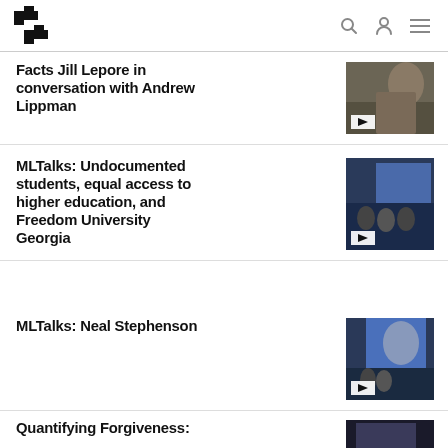MIT Media Lab
Facts Jill Lepore in conversation with Andrew Lippman
MLTalks: Undocumented students, equal access to higher education, and Freedom University Georgia
MLTalks: Neal Stephenson
Quantifying Forgiveness: